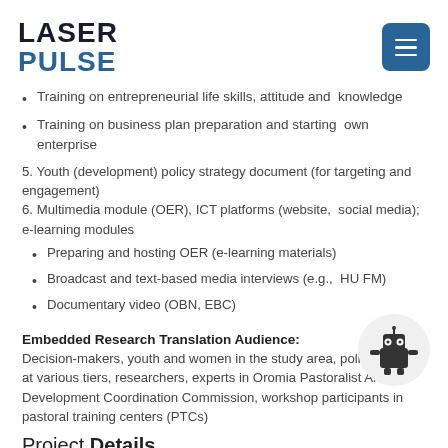LASER PULSE
Training on entrepreneurial life skills, attitude and  knowledge
Training on business plan preparation and starting  own enterprise
5. Youth (development) policy strategy document (for targeting and engagement)
6. Multimedia module (OER), ICT platforms (website,  social media); e-learning modules
Preparing and hosting OER (e-learning materials)
Broadcast and text-based media interviews (e.g.,  HU FM)
Documentary video (OBN, EBC)
Embedded Research Translation Audience:
Decision-makers, youth and women in the study area, policy makers at various tiers, researchers, experts in Oromia Pastoralist Area Development Coordination Commission, workshop participants in pastoral training centers (PTCs)
Project Details
[Figure (illustration): Small robot mascot icon inside a circular frame]